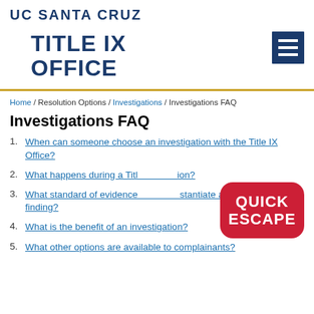UC SANTA CRUZ
TITLE IX OFFICE
Home / Resolution Options / Investigations / Investigations FAQ
Investigations FAQ
1. When can someone choose an investigation with the Title IX Office?
2. What happens during a Title IX investigation?
3. What standard of evidence is needed to substantiate a policy violation finding?
4. What is the benefit of an investigation?
5. What other options are available to complainants?
[Figure (other): Quick Escape red button overlay]